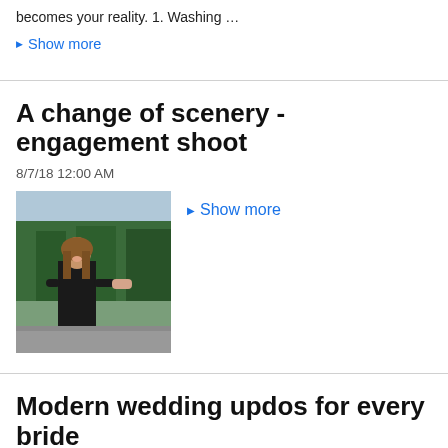becomes your reality. 1. Washing …
▶ Show more
A change of scenery - engagement shoot
8/7/18 12:00 AM
[Figure (photo): Woman in black dress smiling outdoors with mountain and forest background, holding hands with someone]
▶ Show more
Modern wedding updos for every bride